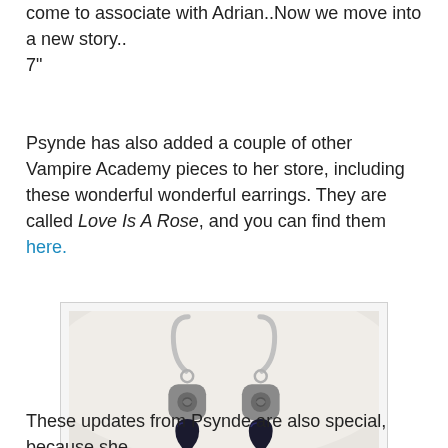come to associate with Adrian..Now we move into a new story..
7"
Psynde has also added a couple of other Vampire Academy pieces to her store, including these wonderful wonderful earrings. They are called Love Is A Rose, and you can find them here.
[Figure (photo): Photograph of two silver earrings with rose-shaped charms and dark heart-shaped crystal pendants, displayed against a white ceramic background.]
These updates from Psynde are also special, because she